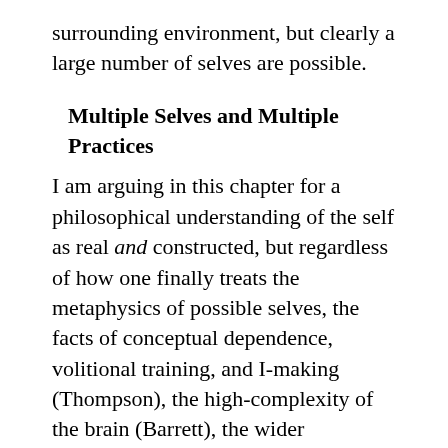surrounding environment, but clearly a large number of selves are possible.
Multiple Selves and Multiple Practices
I am arguing in this chapter for a philosophical understanding of the self as real and constructed, but regardless of how one finally treats the metaphysics of possible selves, the facts of conceptual dependence, volitional training, and I-making (Thompson), the high-complexity of the brain (Barrett), the wider phenomenal state space within which selves emerge (Metzinger), and the circulation between experience, self-